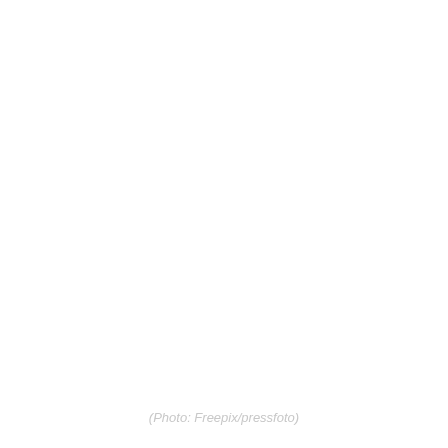[Figure (photo): A mostly white/blank photograph area occupying the upper portion of the page.]
(Photo: Freepix/pressfoto)